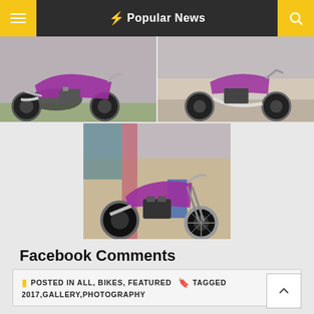⚡ Popular News
[Figure (photo): Two photos of purple Harley-Davidson motorcycles in a top row]
[Figure (photo): Photo of a purple Harley-Davidson motorcycle at a show, centered]
Facebook Comments
🟨 POSTED IN ALL, BIKES, FEATURED 🏷 TAGGED 2017,GALLERY,PHOTOGRAPHY